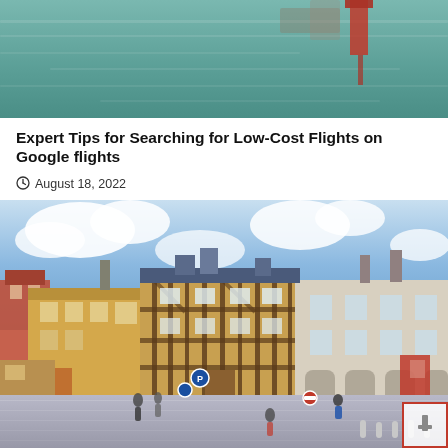[Figure (photo): Top portion of a coastal/harbor photo showing teal-green water and a distant red structure, cropped at top]
Expert Tips for Searching for Low-Cost Flights on Google flights
August 18, 2022
[Figure (photo): Colorful street scene of a European (French) town square with half-timbered buildings, blue sky with clouds, pedestrians on cobblestone streets, road signs visible]